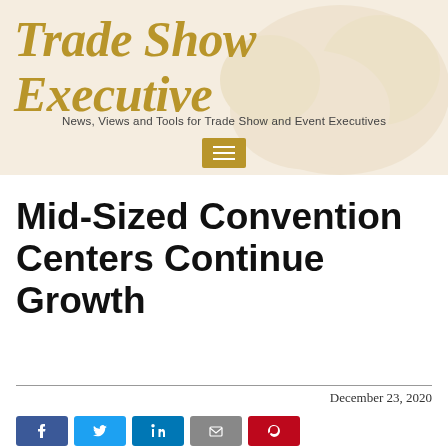Trade Show Executive
News, Views and Tools for Trade Show and Event Executives
Mid-Sized Convention Centers Continue Growth
December 23, 2020